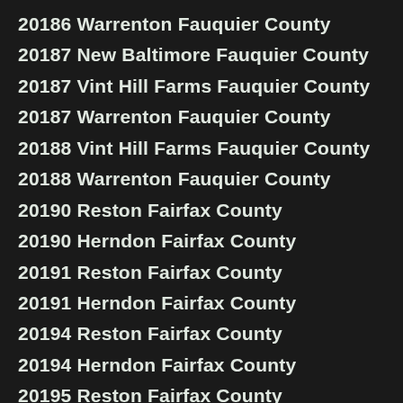20186 Warrenton Fauquier County
20187 New Baltimore Fauquier County
20187 Vint Hill Farms Fauquier County
20187 Warrenton Fauquier County
20188 Vint Hill Farms Fauquier County
20188 Warrenton Fauquier County
20190 Reston Fairfax County
20190 Herndon Fairfax County
20191 Reston Fairfax County
20191 Herndon Fairfax County
20194 Reston Fairfax County
20194 Herndon Fairfax County
20195 Reston Fairfax County
20195 Herndon Fairfax County
20197 Waterford Loudoun County
20198 The Plains Fauquier County